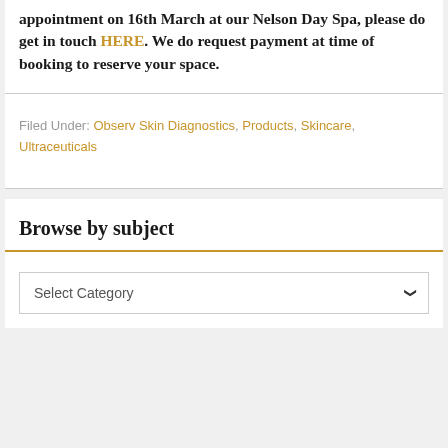appointment on 16th March at our Nelson Day Spa, please do get in touch HERE. We do request payment at time of booking to reserve your space.
Filed Under: Observ Skin Diagnostics, Products, Skincare, Ultraceuticals
Browse by subject
Select Category